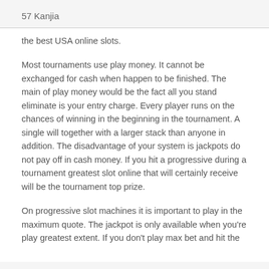57 Kanjia
the best USA online slots.
Most tournaments use play money. It cannot be exchanged for cash when happen to be finished. The main of play money would be the fact all you stand eliminate is your entry charge. Every player runs on the chances of winning in the beginning in the tournament. A single will together with a larger stack than anyone in addition. The disadvantage of your system is jackpots do not pay off in cash money. If you hit a progressive during a tournament greatest slot online that will certainly receive will be the tournament top prize.
On progressive slot machines it is important to play in the maximum quote. The jackpot is only available when you're play greatest extent. If you don't play max bet and hit the